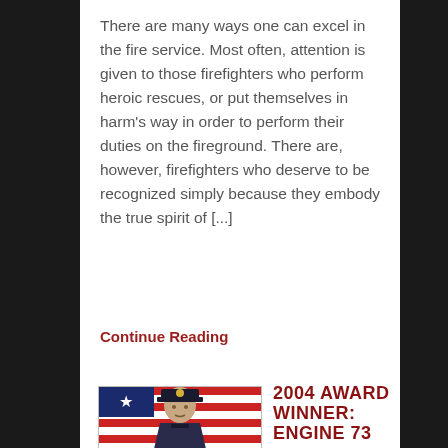There are many ways one can excel in the fire service. Most often, attention is given to those firefighters who perform heroic rescues, or put themselves in harm's way in order to perform their duties on the fireground. There are, however, firefighters who deserve to be recognized simply because they embody the true spirit of [...]
Continue Reading
[Figure (photo): Portrait photo of a firefighter in dress uniform with a badge on his cap, American flag in background]
2004 AWARD WINNER: ENGINE 73
by FDNY.NET on December 1, 2004 in